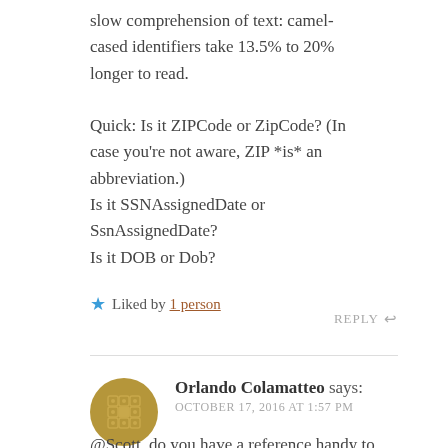slow comprehension of text: camel-cased identifiers take 13.5% to 20% longer to read.

Quick: Is it ZIPCode or ZipCode? (In case you're not aware, ZIP *is* an abbreviation.)
Is it SSNAssignedDate or SsnAssignedDate?
Is it DOB or Dob?
★ Liked by 1 person
REPLY ↩
Orlando Colamatteo says:
OCTOBER 17, 2016 AT 1:57 PM
@Scott, do you have a reference handy to support the stats you mentioned about the relative speed